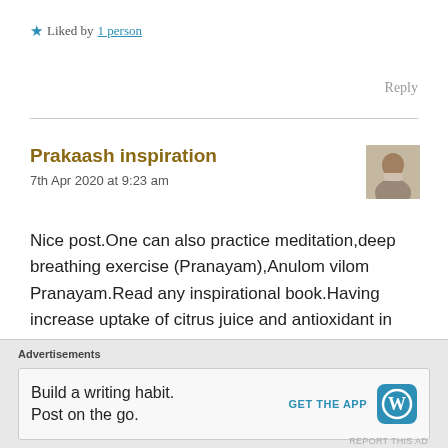★ Liked by 1 person
Reply
Prakaash inspiration
7th Apr 2020 at 9:23 am
Nice post.One can also practice meditation,deep breathing exercise (Pranayam),Anulom vilom Pranayam.Read any inspirational book.Having increase uptake of citrus juice and antioxidant in diet.
★ Liked by 6 people
Advertisements
Build a writing habit. Post on the go. GET THE APP